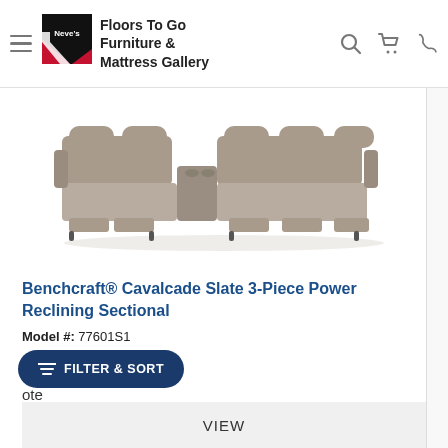Neve's Floors To Go Furniture & Mattress Gallery
[Figure (photo): Gray Benchcraft Cavalcade slate 3-piece power reclining sectional sofa photographed from slightly elevated front angle]
Benchcraft® Cavalcade Slate 3-Piece Power Reclining Sectional
Model #: 77601S1
★★★★★ (0)
ote
FILTER & SORT
VIEW